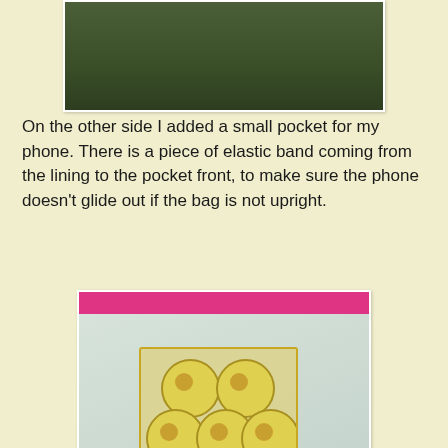[Figure (photo): Top portion of a photo showing dark green fabric or leaves, cropped at the top of the page]
On the other side I added a small pocket for my phone. There is a piece of elastic band coming from the lining to the pocket front, to make sure the phone doesn't glide out if the bag is not upright.
[Figure (photo): Photo showing the inside lining of a bag (pale blue-gray fabric) with a bright pink top edge visible, and a yellow floral patterned fabric pocket sewn onto the lining]
Backside of purse, close up. The fabric is cut away so the ...